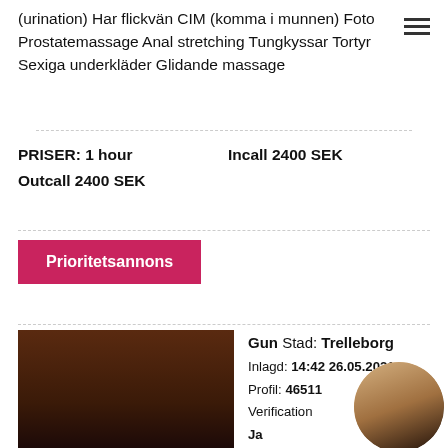(urination) Har flickvän CIM (komma i munnen) Foto Prostatemassage Anal stretching Tungkyssar Tortyr Sexiga underkläder Glidande massage
PRISER: 1 hour   Incall 2400 SEK
Outcall 2400 SEK
Prioritetsannons
[Figure (photo): Photo of a dark-haired woman posing closely to camera]
Gun Stad: Trelleborg
Inlagd: 14:42 26.05.2021
Profil: 46511
Verification: Ja
Info
Telefon: +46XXX825790
[Figure (photo): Small circular photo of a blonde woman in dark outfit]